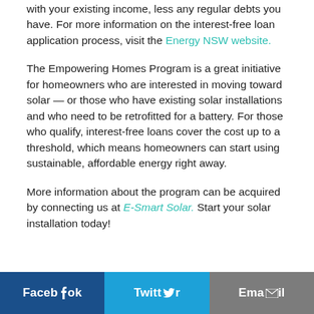with your existing income, less any regular debts you have. For more information on the interest-free loan application process, visit the Energy NSW website.
The Empowering Homes Program is a great initiative for homeowners who are interested in moving toward solar — or those who have existing solar installations and who need to be retrofitted for a battery. For those who qualify, interest-free loans cover the cost up to a threshold, which means homeowners can start using sustainable, affordable energy right away.
More information about the program can be acquired by connecting us at E-Smart Solar. Start your solar installation today!
[Figure (other): Social sharing buttons: Facebook (dark blue), Twitter (light blue), Email (grey)]